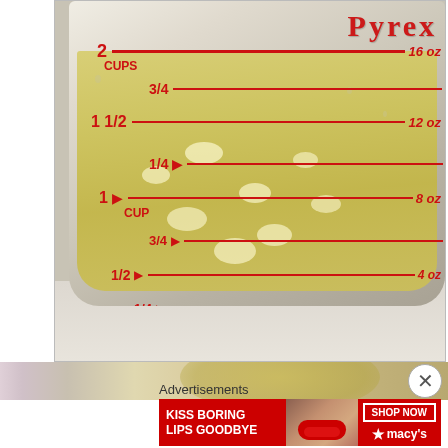[Figure (photo): Close-up photo of a Pyrex glass measuring cup filled with a yellow liquid (likely chicken broth or juice with small white pieces/kernels). Red measurement markings visible: 2 CUPS / 16 oz, 3/4, 1 1/2 / 12 oz, 1/4, 1 CUP / 8 oz, 3/4, 1/2 / 4 oz, 1/4. The Pyrex brand name is visible in red at the top right of the cup.]
[Figure (photo): Partial second photo showing a close-up of what appears to be food with a green/yellow hue, partially visible at the bottom of the page.]
Advertisements
[Figure (photo): Advertisement banner for Macy's. Red background with white text reading 'KISS BORING LIPS GOODBYE', a woman's face showing red lips, a 'SHOP NOW' button, and the Macy's star logo.]